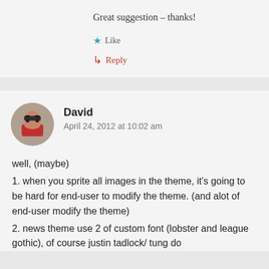Great suggestion – thanks!
★ Like
↳ Reply
David
April 24, 2012 at 10:02 am
well, (maybe)
1. when you sprite all images in the theme, it's going to be hard for end-user to modify the theme. (and alot of end-user modify the theme)
2. news theme use 2 of custom font (lobster and league gothic), of course justin tadlock/ tung do